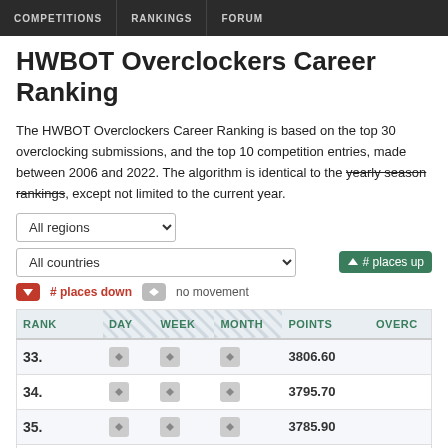COMPETITIONS | RANKINGS | FORUM
HWBOT Overclockers Career Ranking
The HWBOT Overclockers Career Ranking is based on the top 30 overclocking submissions, and the top 10 competition entries, made between 2006 and 2022. The algorithm is identical to the yearly season rankings, except not limited to the current year.
| RANK | DAY | WEEK | MONTH | POINTS | OVERC |
| --- | --- | --- | --- | --- | --- |
| 33. |  |  |  | 3806.60 |  |
| 34. |  |  |  | 3795.70 |  |
| 35. |  |  |  | 3785.90 |  |
| 36. |  |  |  | 3748.90 | 🇳🇱 |
| 37. |  |  |  | 3743.60 |  |
| 38. |  |  |  | 3730.00 |  |